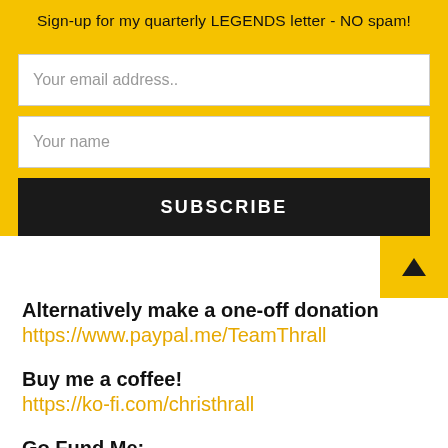Sign-up for my quarterly LEGENDS letter - NO spam!
[Figure (screenshot): Email subscription form with two input fields (Your email address.., Your name) and a black SUBSCRIBE button]
Alternatively make a one-off donation
https://www.paypal.me/TeamThrall
Buy me a coffee!
https://ko-fi.com/christhrall
Go Fund Me:
https://gf.me/u/xb5x5u
Newsletter and FREE books!